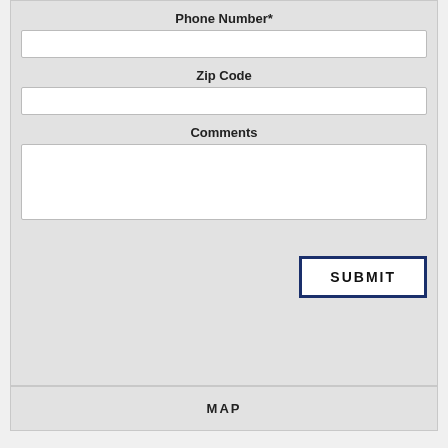Phone Number*
Zip Code
Comments
SUBMIT
MAP